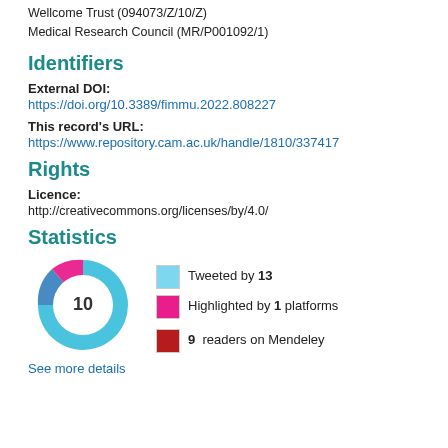Wellcome Trust (094073/Z/10/Z)
Medical Research Council (MR/P001092/1)
Identifiers
External DOI:
https://doi.org/10.3389/fimmu.2022.808227
This record's URL:
https://www.repository.cam.ac.uk/handle/1810/337417
Rights
Licence:
http://creativecommons.org/licenses/by/4.0/
Statistics
[Figure (donut-chart): Altmetric donut chart showing score of 10, with segments for tweets (blue), highlights (pink/magenta), and Mendeley readers (dark red).]
Tweeted by 13
Highlighted by 1 platforms
9 readers on Mendeley
See more details